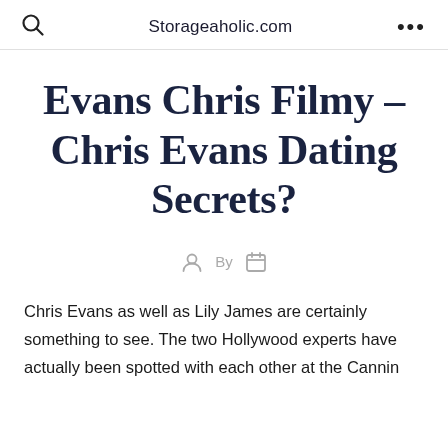Storageaholic.com
Evans Chris Filmy – Chris Evans Dating Secrets?
By
Chris Evans as well as Lily James are certainly something to see. The two Hollywood experts have actually been spotted with each other at the Cannin